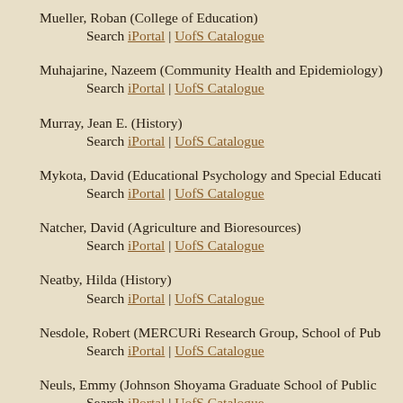Mueller, Roban (College of Education)
        Search iPortal | UofS Catalogue
Muhajarine, Nazeem (Community Health and Epidemiology)
        Search iPortal | UofS Catalogue
Murray, Jean E. (History)
        Search iPortal | UofS Catalogue
Mykota, David (Educational Psychology and Special Education)
        Search iPortal | UofS Catalogue
Natcher, David (Agriculture and Bioresources)
        Search iPortal | UofS Catalogue
Neatby, Hilda (History)
        Search iPortal | UofS Catalogue
Nesdole, Robert (MERCURi Research Group, School of Pub...)
        Search iPortal | UofS Catalogue
Neuls, Emmy (Johnson Shoyama Graduate School of Public...)
        Search iPortal | UofS Catalogue
Newman, Dwight (College of Law)
        Search iPortal | UofS Catalogue